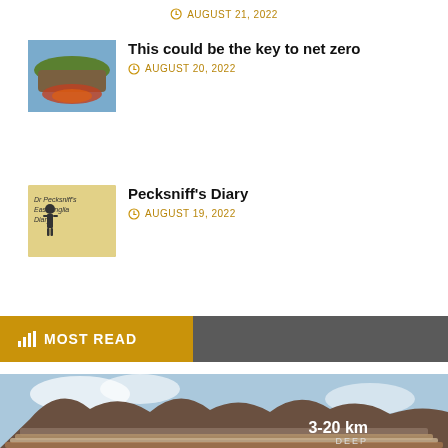AUGUST 21, 2022
[Figure (photo): Floating island with rock layers and fire beneath, inverted landscape illustration]
This could be the key to net zero
AUGUST 20, 2022
[Figure (illustration): Book cover: Dr Pecksniff's East Anglia Diary, showing a Victorian figure]
Pecksniff's Diary
AUGUST 19, 2022
MOST READ
[Figure (photo): Cross-section of geological layers showing earth strata labeled 3-20 km DEEP, floating rock formation against cloudy sky]